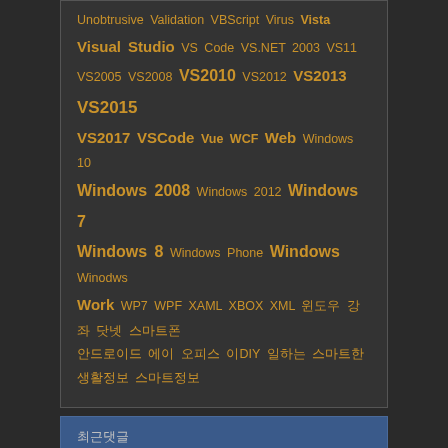Unobtrusive Validation VBScript Virus Vista Visual Studio VS Code VS.NET 2003 VS11 VS2005 VS2008 VS2010 VS2012 VS2013 VS2015 VS2017 VSCode Vue WCF Web Windows 10 Windows 2008 Windows 2012 Windows 7 Windows 8 Windows Phone Windows Winodws Work WP7 WPF XAML XBOX XML 윈도우 강좌 닷넷 스마트폰 안드로이드 에이 오피스 이DIY 일하는 스마트한 생활정보 스마트정보
최근댓글